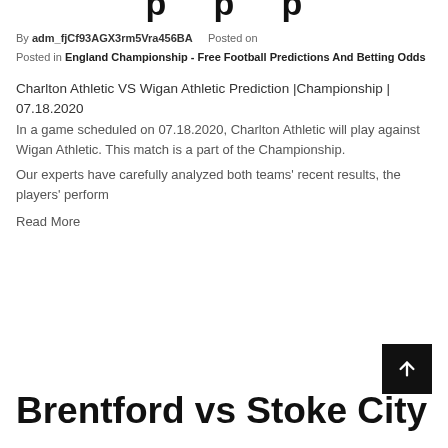(partial title at top — cropped)
By adm_fjCf93AGX3rm5Vra456BA   Posted on
Posted in England Championship - Free Football Predictions And Betting Odds
Charlton Athletic VS Wigan Athletic Prediction |Championship | 07.18.2020
In a game scheduled on 07.18.2020, Charlton Athletic will play against Wigan Athletic. This match is a part of the Championship.
Our experts have carefully analyzed both teams' recent results, the players' perform
Read More
Brentford vs Stoke City